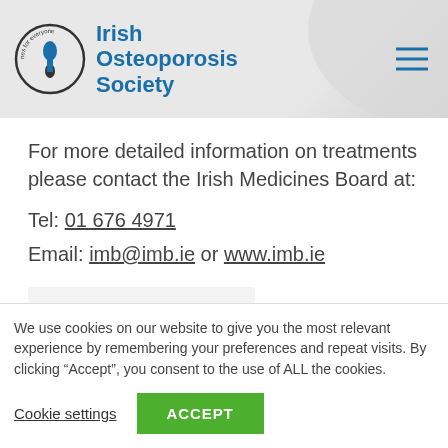[Figure (logo): Irish Osteoporosis Society logo with circular badge and blue text]
For more detailed information on treatments please contact the Irish Medicines Board at:
Tel: 01 676 4971
Email: imb@imb.ie or www.imb.ie
We use cookies on our website to give you the most relevant experience by remembering your preferences and repeat visits. By clicking “Accept”, you consent to the use of ALL the cookies.
Cookie settings   ACCEPT